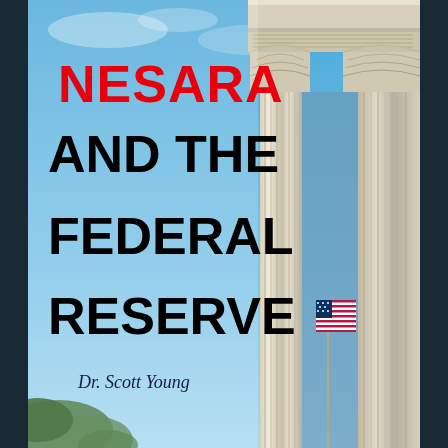[Figure (photo): Book cover showing classical government building columns (white marble Corinthian columns) against a blue sky with an American flag visible between the columns and green foliage at the bottom left. Dark gray/slate side borders frame the image.]
NESARA AND THE FEDERAL RESERVE
Dr. Scott Young